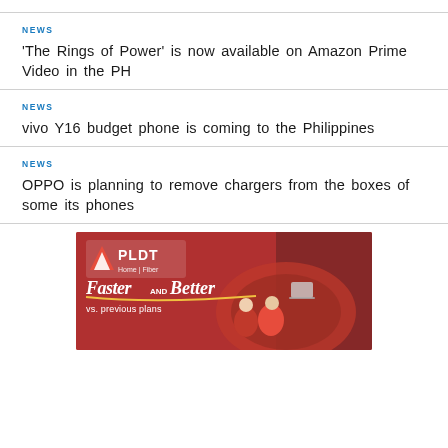NEWS
‘The Rings of Power’ is now available on Amazon Prime Video in the PH
NEWS
vivo Y16 budget phone is coming to the Philippines
NEWS
OPPO is planning to remove chargers from the boxes of some its phones
[Figure (photo): PLDT Home Fiber advertisement banner showing 'Faster and Better vs. previous plans' with two people in red clothing and PLDT logo]